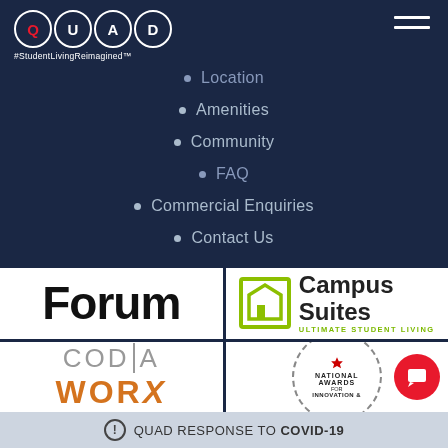[Figure (logo): QUAD logo with Q, U, A, D in circles and #StudentLivingReimagined tagline]
Location
Amenities
Community
FAQ
Commercial Enquiries
Contact Us
[Figure (logo): Forum logo in bold black text]
[Figure (logo): Campus Suites - Ultimate Student Living logo with green icon]
[Figure (logo): CODA Worx logo in grey and orange]
[Figure (logo): National Awards for Innovation circular badge logo]
QUAD RESPONSE TO COVID-19